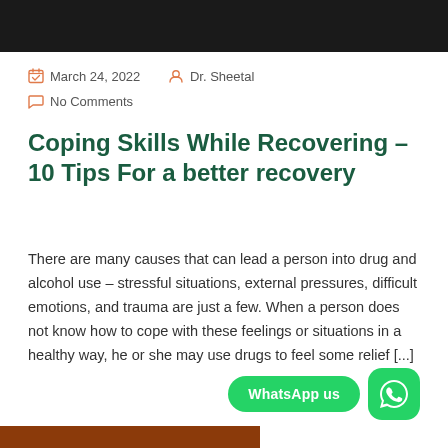[Figure (photo): Dark header image banner at top of page]
March 24, 2022   Dr. Sheetal
No Comments
Coping Skills While Recovering – 10 Tips For a better recovery
There are many causes that can lead a person into drug and alcohol use – stressful situations, external pressures, difficult emotions, and trauma are just a few. When a person does not know how to cope with these feelings or situations in a healthy way, he or she may use drugs to feel some relief [...]
[Figure (other): WhatsApp us button and WhatsApp icon]
[Figure (other): Brown footer bar at bottom of page]